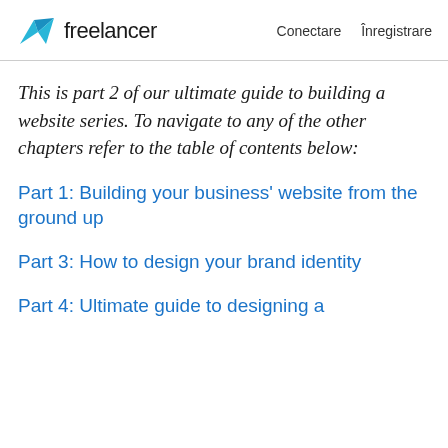freelancer  Conectare  Înregistrare
This is part 2 of our ultimate guide to building a website series. To navigate to any of the other chapters refer to the table of contents below:
Part 1: Building your business' website from the ground up
Part 3: How to design your brand identity
Part 4: Ultimate guide to designing a